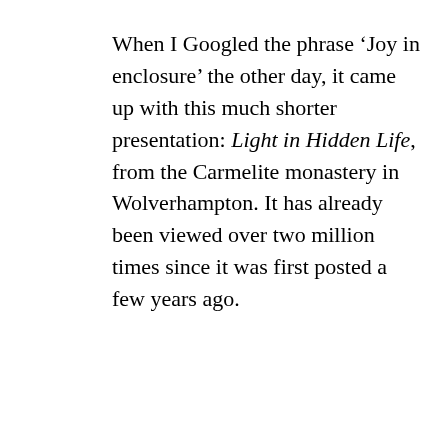When I Googled the phrase 'Joy in enclosure' the other day, it came up with this much shorter presentation: Light in Hidden Life, from the Carmelite monastery in Wolverhampton. It has already been viewed over two million times since it was first posted a few years ago.